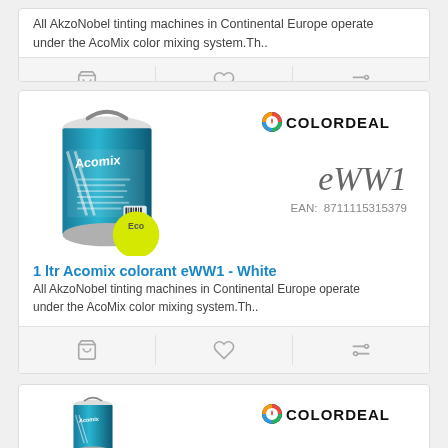All AkzoNobel tinting machines in Continental Europe operate under the AcoMix color mixing system.Th..
[Figure (screenshot): Action buttons row: cart icon, heart icon, compare icon]
[Figure (photo): 1 ltr Acomix colorant paint can with Eco badge, Colordeal logo, product code eWW1, EAN 8711115315379]
1 ltr Acomix colorant eWW1 - White
All AkzoNobel tinting machines in Continental Europe operate under the AcoMix color mixing system.Th..
[Figure (screenshot): Action buttons row: cart icon, heart icon, compare icon]
[Figure (photo): Bottom partial card showing Acomix paint can and Colordeal logo]